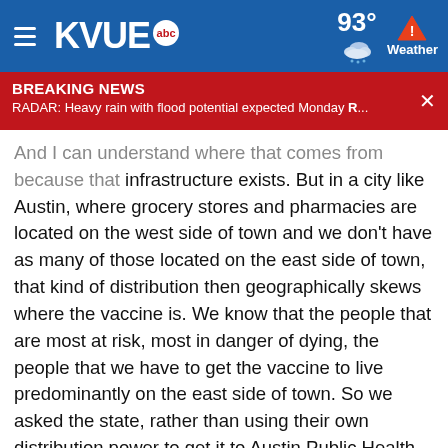KVUE abc — 93° Weather
BREAKING NEWS — RADAR: Heavy rain with flood potential expected Monday R...
And I can understand where that comes from because that infrastructure exists. But in a city like Austin, where grocery stores and pharmacies are located on the west side of town and we don't have as many of those located on the east side of town, that kind of distribution then geographically skews where the vaccine is. We know that the people that are most at risk, most in danger of dying, the people that we have to get the vaccine to live predominantly on the east side of town. So we asked the state, rather than using their own distribution power to get it to Austin Public Health, let us work with community care and people that work with the clinics on the east side of town. And we've indicated to them that we could probably get out more vaccine more quickly to people that are most in need, most at risk and deliver it. Where they live are the ZIP codes that are hardest hit. And we're going to get the chance to do that. This